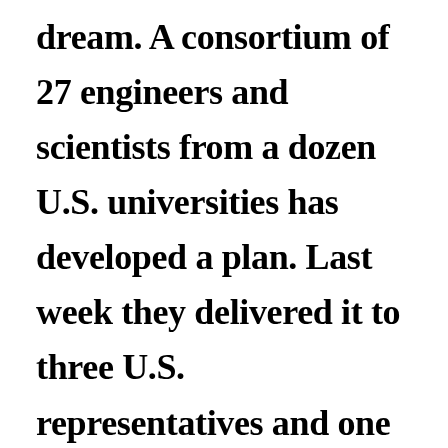dream. A consortium of 27 engineers and scientists from a dozen U.S. universities has developed a plan. Last week they delivered it to three U.S. representatives and one senator. “Let’s put the best scientists and engineers together to create a new way to deal with migration, trafficking, and access to